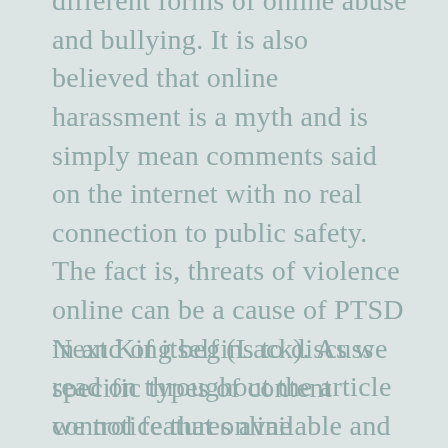different forms of online abuse and bullying. It is also believed that online harassment is a myth and is simply mean comments said on the internet with no real connection to public safety. The fact is, threats of violence online can be a cause of PTSD in and of itself (Lack). As we read on throughout the article we notice that online harassment does indeed effect mental health and eventually if worse enough can cause cases of PTSD.
Next King begins to discuss specific types of content control features available and suggests that blocklists are important tools to the extent of Blocklists are not a social